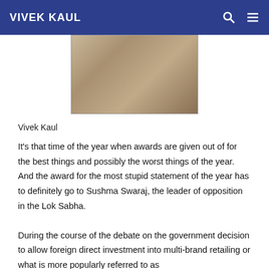VIVEK KAUL
[Figure (photo): Partial photo of a person wearing a beige/cream colored garment, torso cropped]
Vivek Kaul
It’s that time of the year when awards are given out of for the best things and possibly the worst things of the year. And the award for the most stupid statement of the year has to definitely go to Sushma Swaraj, the leader of opposition in the Lok Sabha.
During the course of the debate on the government decision to allow foreign direct investment into multi-brand retailing or what is more popularly referred to as big retail, she said “Wal-Mart…”